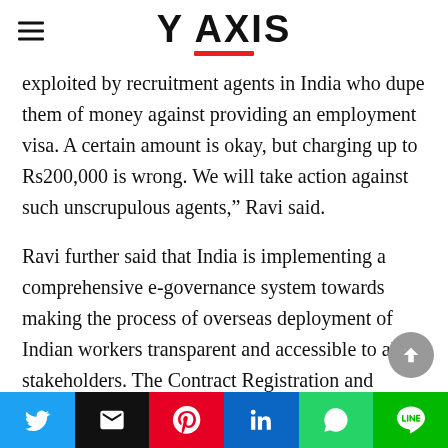Y AXIS
exploited by recruitment agents in India who dupe them of money against providing an employment visa. A certain amount is okay, but charging up to Rs200,000 is wrong. We will take action against such unscrupulous agents,” Ravi said.
Ravi further said that India is implementing a comprehensive e-governance system towards making the process of overseas deployment of Indian workers transparent and accessible to all stakeholders. The Contract Registration and Validation System is fully aligned with India’s e-governance system, allowing a seamless application of the respective rules and
Social share buttons: Twitter, Email, Pinterest, LinkedIn, WhatsApp, LINE